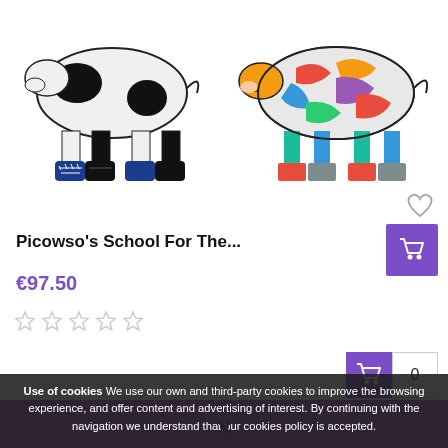[Figure (photo): Two colorful decorative cow figurines – left one with black/white/blue pop-art sneaker style, right one with multicolored Picasso-style painting]
Picowso's School For The...
€97.50
[Figure (other): Five hollow/empty star rating icons]
[Figure (other): Purple shopping cart button top right]
[Figure (other): Cart bar with shopping cart icon and count 0]
Use of cookies We use our own and third-party cookies to improve the browsing experience, and offer content and advertising of interest. By continuing with the navigation we understand that our cookies policy is accepted.